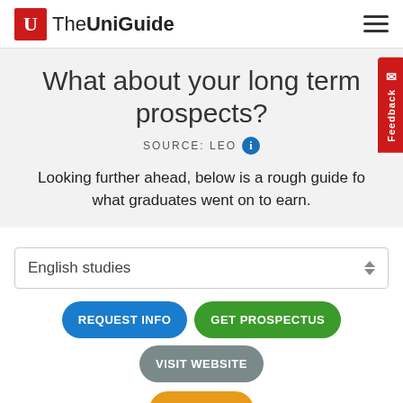[Figure (logo): TheUniGuide logo with red square U icon and text]
What about your long term prospects?
SOURCE: LEO
Looking further ahead, below is a rough guide for what graduates went on to earn.
English studies
REQUEST INFO
GET PROSPECTUS
VISIT WEBSITE
OPEN DAYS